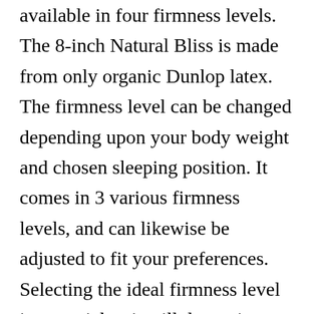available in four firmness levels. The 8-inch Natural Bliss is made from only organic Dunlop latex. The firmness level can be changed depending upon your body weight and chosen sleeping position. It comes in 3 various firmness levels, and can likewise be adjusted to fit your preferences. Selecting the ideal firmness level is essential as it will determine how comfortable you will be on your mattress.
PlushBeds Luxury Happiness Evaluation
The PlushBeds Luxury happiness bed mattress is an exceptional hybrid latex